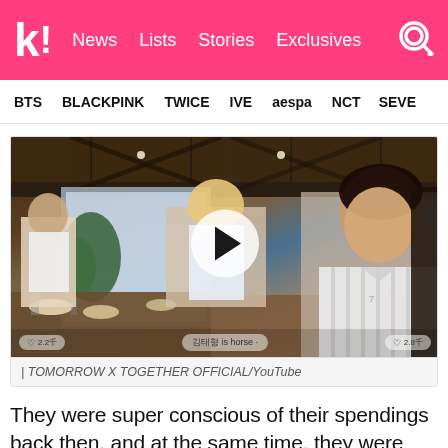k! News Lists Stories Exclusives
BTS BLACKPINK TWICE IVE aespa NCT SEVE
[Figure (screenshot): Video thumbnail showing members of TOMORROW X TOGETHER (TXT) at a restaurant table, with a play button overlay and a live chat overlay at the bottom. Caption reads: | TOMORROW X TOGETHER OFFICIAL/YouTube]
| TOMORROW X TOGETHER OFFICIAL/YouTube
They were super conscious of their spendings back then, and at the same time, they were super